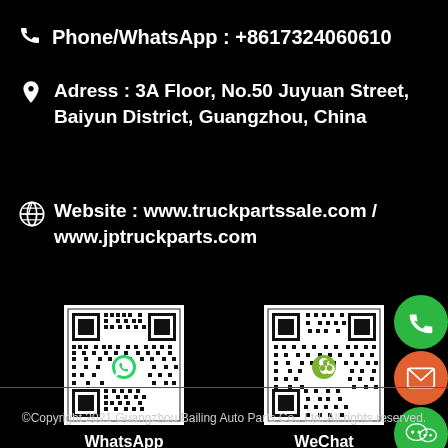Phone/WhatsApp : +8617324060610
Adress : 3A Floor, No.50 Juyuan Street, Baiyun District, Guangzhou, China
Website : www.truckpartssale.com / www.jptruckparts.com
[Figure (other): WhatsApp QR code]
WhatsApp
[Figure (other): WeChat QR code]
WeChat
©Copyright 2021 Guangzhou Bailing Auto Parts Co., Ltd. All rights reserved.